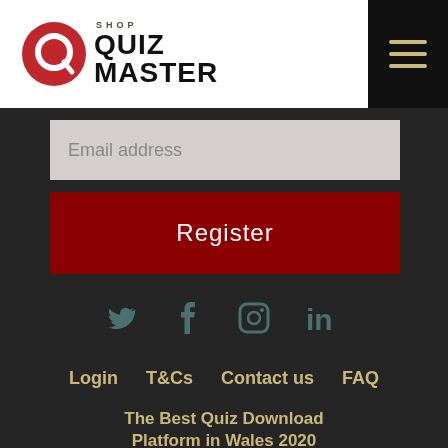[Figure (logo): Quiz Master Shop logo with red circle containing a Q shape, and bold text QUIZ MASTER]
[Figure (infographic): Black hamburger menu icon with three horizontal tan/gold lines]
Email address
Register
[Figure (infographic): Social media icons row: Twitter (bird), Facebook (f), Instagram (camera), LinkedIn (in)]
Login   T&Cs   Contact us   FAQ
The Best Quiz Download Platform in Wales 2020